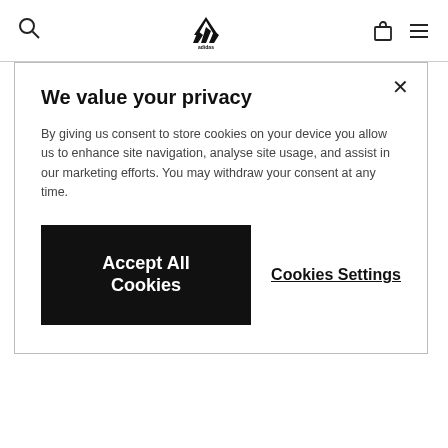adidas navigation bar with search, logo, cart, and menu icons
We value your privacy
By giving us consent to store cookies on your device you allow us to enhance site navigation, analyse site usage, and assist in our marketing efforts. You may withdraw your consent at any time.
Accept All Cookies
Cookies Settings
11.2 We are not liable for damages or delays caused by unforeseen circumstances beyond our control, for example pandemic, fires, explosions, floods, acts of war, sabotage, riots, accidents, breakdowns of machinery or equipment, strikes, labour disputes or shortages, all governmental actions, inability to obtain material equipment or transportation or natural disasters, which we could not reasonably have foreseen (Force Majeure). However, you always have the right to cancel the purchase in accordance with